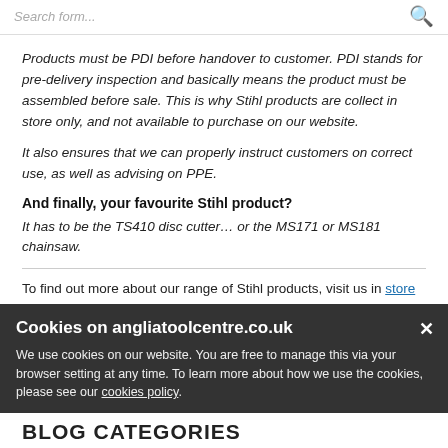Search form...
Products must be PDI before handover to customer. PDI stands for pre-delivery inspection and basically means the product must be assembled before sale. This is why Stihl products are collect in store only, and not available to purchase on our website.
It also ensures that we can properly instruct customers on correct use, as well as advising on PPE.
And finally, your favourite Stihl product?
It has to be the TS410 disc cutter… or the MS171 or MS181 chainsaw.
To find out more about our range of Stihl products, visit us in store at our Bury St. Edmunds showroom.
Cookies on angliatoolcentre.co.uk
We use cookies on our website. You are free to manage this via your browser setting at any time. To learn more about how we use the cookies, please see our cookies policy.
BLOG CATEGORIES